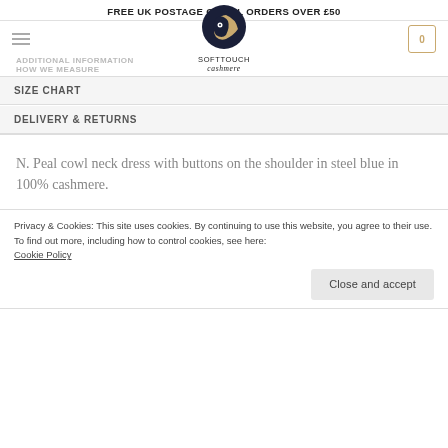FREE UK POSTAGE ON ALL ORDERS OVER £50
[Figure (logo): Softtouch Cashmere logo — stylized goat head in dark navy and gold tones, with text SOFTTOUCH cashmere below]
ADDITIONAL INFORMATION
HOW WE MEASURE
SIZE CHART
DELIVERY & RETURNS
N. Peal cowl neck dress with buttons on the shoulder in steel blue in 100% cashmere.
Privacy & Cookies: This site uses cookies. By continuing to use this website, you agree to their use.
To find out more, including how to control cookies, see here:
Cookie Policy
Close and accept